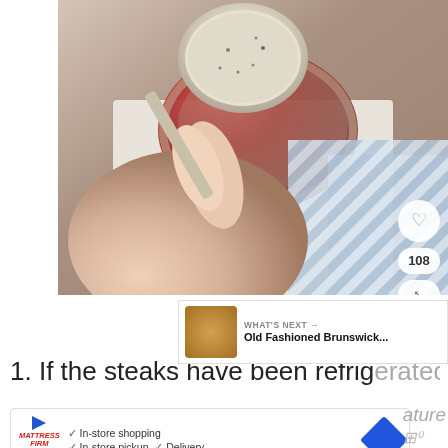[Figure (photo): A hand holding a measuring spoon filled with seasoning/spice rub being applied to a raw steak on a white surface, with a blue striped cloth in the background. UI overlay shows heart/save button, share count of 108, and share button.]
WHAT'S NEXT → Old Fashioned Brunswick...
1. If the steaks have been refrigerated,
In-store shopping  In-store pickup  Delivery